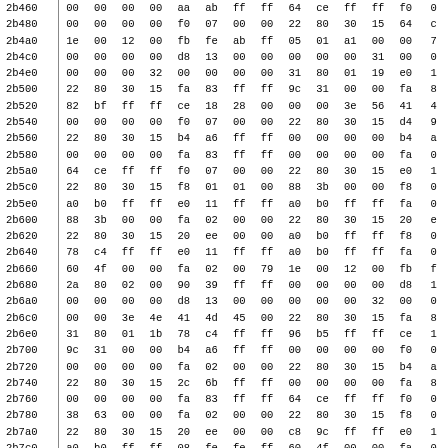| addr | b0 | b1 | b2 | b3 | b4 | b5 | b6 | b7 | b8 | b9 | ba | bb | bc | bd |
| --- | --- | --- | --- | --- | --- | --- | --- | --- | --- | --- | --- | --- | --- | --- |
| 2b460 | 00 | 00 | 00 | 00 | aa | ab | ff | ff | 64 | ce | ff | ff | f0 | 0 |
| 2b480 | 00 | 00 | 00 | 00 | f0 | 07 | 00 | 00 | 22 | 80 | 30 | 15 | 64 | c |
| 2b4a0 | 1e | 00 | 12 | 00 | fb | fe | ab | ff | 05 | 01 | a1 | 00 | 00 | 7 |
| 2b4c0 | 00 | 00 | 00 | 00 | d8 | 13 | 00 | 00 | 00 | 00 | 00 | 31 | 00 | 0 |
| 2b4e0 | 00 | 00 | 00 | 32 | 00 | 00 | 00 | 00 | 31 | 80 | 01 | 19 | e0 | 1 |
| 2b500 | 22 | 80 | 30 | 15 | fa | 83 | ff | ff | 9c | 31 | 00 | 00 | fa | 8 |
| 2b520 | 82 | bf | ff | ff | ce | 18 | 28 | 00 | 00 | 00 | 3e | 56 | 41 | 4 |
| 2b540 | 00 | 00 | 00 | 00 | f0 | 07 | 00 | 00 | 22 | 80 | 30 | 15 | d4 | 9 |
| 2b560 | 22 | 80 | 30 | 15 | b4 | a6 | ff | ff | 00 | 00 | 00 | 00 | b4 | a |
| 2b580 | 00 | 00 | 00 | 00 | fa | 83 | ff | ff | 00 | 00 | 00 | 00 | fa | 0 |
| 2b5a0 | 64 | ce | ff | ff | f0 | 07 | 00 | 00 | 22 | 80 | 30 | 15 | e0 | 1 |
| 2b5c0 | 22 | 80 | 30 | 15 | f8 | 01 | 01 | 00 | 88 | 3b | 00 | 00 | f8 | 0 |
| 2b5e0 | a0 | b0 | ff | ff | e0 | 11 | ff | ff | a0 | b0 | ff | ff | fa | 0 |
| 2b600 | 88 | 3b | 00 | 00 | fa | 02 | 00 | 00 | 22 | 80 | 30 | 15 | 20 | e |
| 2b620 | 22 | 80 | 30 | 15 | 20 | ee | 00 | 00 | a0 | b0 | ff | ff | f8 | 0 |
| 2b640 | 78 | c4 | ff | ff | e0 | 11 | ff | ff | a0 | b0 | ff | ff | fa | 0 |
| 2b660 | 60 | 4f | 00 | 00 | fa | 02 | 00 | 79 | 1e | 00 | 12 | 00 | fb | f |
| 2b680 | 2a | 80 | 02 | 00 | 90 | 39 | ff | ff | 00 | 00 | 00 | 00 | d8 | 1 |
| 2b6a0 | 00 | 00 | 00 | 00 | d8 | 13 | 00 | 00 | 00 | 00 | 00 | 32 | 00 | 0 |
| 2b6c0 | 00 | 00 | 3e | 4e | 41 | 4d | 45 | 00 | 22 | 80 | 30 | 15 | fa | 8 |
| 2b6e0 | 31 | 80 | 01 | 1b | 78 | c4 | ff | ff | 96 | b5 | ff | ff | ce | 1 |
| 2b700 | 9c | 31 | 00 | 00 | b4 | a6 | ff | ff | 00 | 00 | 00 | 00 | f0 | 0 |
| 2b720 | 00 | 00 | 00 | 00 | fa | 02 | 00 | 00 | 22 | 80 | 30 | 15 | b4 | a |
| 2b740 | 22 | 80 | 30 | 15 | 2c | 6b | ff | ff | 00 | 00 | 00 | 00 | fa | 8 |
| 2b760 | 00 | 00 | 00 | 00 | fa | 83 | ff | ff | 64 | ce | ff | ff | f0 | 0 |
| 2b780 | 38 | 63 | 00 | 00 | fa | 02 | 00 | 00 | 22 | 80 | 30 | 15 | f8 | 0 |
| 2b7a0 | 22 | 80 | 30 | 15 | 20 | ee | 00 | 00 | c8 | 9c | ff | ff | e0 | 1 |
| 2b7c0 | a0 | b0 | ff | ff | 08 | fe | fe | ff | 60 | 4f | 00 | 00 | fa | 0 |
| 2b7e0 | 60 | 4f | 00 | 00 | fa | 02 | 00 | 78 | 22 | 80 | 30 | 15 | 20 | e |
| 2b800 | 22 | 80 | 30 | 15 | 08 | fe | fe | ff | a0 | b0 | ff | ff | e0 | 8 |